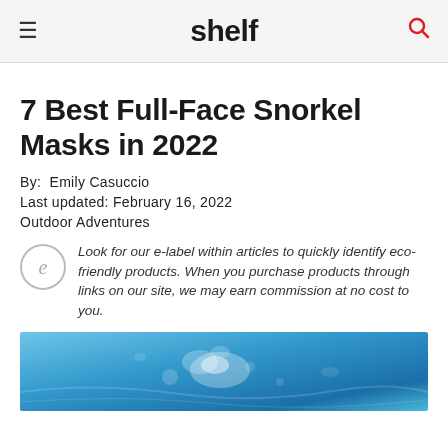shelf
7 Best Full-Face Snorkel Masks in 2022
By: Emily Casuccio
Last updated: February 16, 2022
Outdoor Adventures
Look for our e-label within articles to quickly identify eco-friendly products. When you purchase products through links on our site, we may earn commission at no cost to you.
[Figure (photo): Underwater photo of a person snorkeling, seen from below with blue water and bubbles visible]